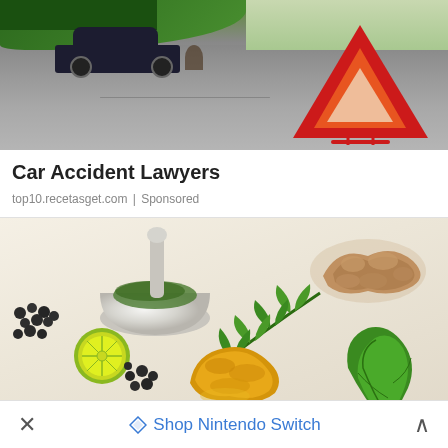[Figure (photo): Car accident scene on a road with a red warning triangle in the foreground]
Car Accident Lawyers
top10.recetasget.com | Sponsored
[Figure (photo): Flat lay of herbal ingredients including mortar and pestle, ginger root, turmeric, lime, neem leaves, black peppercorns on white surface]
Shop Nintendo Switch